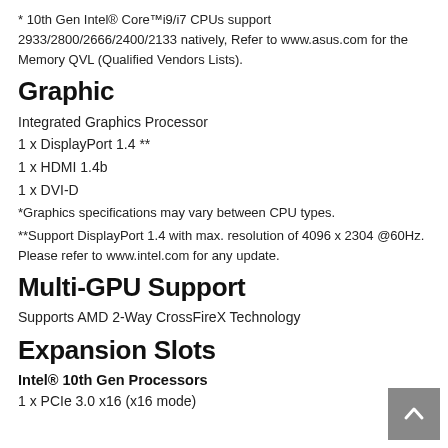* 10th Gen Intel® Core™i9/i7 CPUs support 2933/2800/2666/2400/2133 natively, Refer to www.asus.com for the Memory QVL (Qualified Vendors Lists).
Graphic
Integrated Graphics Processor
1 x DisplayPort 1.4 **
1 x HDMI 1.4b
1 x DVI-D
*Graphics specifications may vary between CPU types.
**Support DisplayPort 1.4 with max. resolution of 4096 x 2304 @60Hz. Please refer to www.intel.com for any update.
Multi-GPU Support
Supports AMD 2-Way CrossFireX Technology
Expansion Slots
Intel® 10th Gen Processors
1 x PCIe 3.0 x16 (x16 mode)